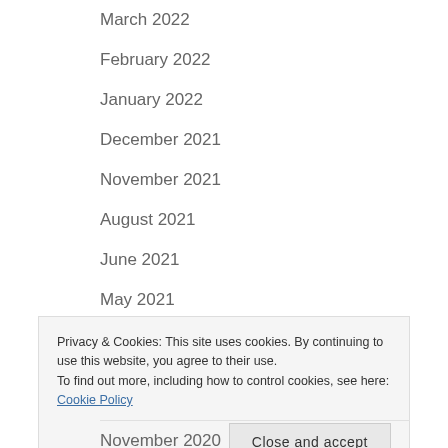March 2022
February 2022
January 2022
December 2021
November 2021
August 2021
June 2021
May 2021
April 2021
Privacy & Cookies: This site uses cookies. By continuing to use this website, you agree to their use.
To find out more, including how to control cookies, see here: Cookie Policy
November 2020